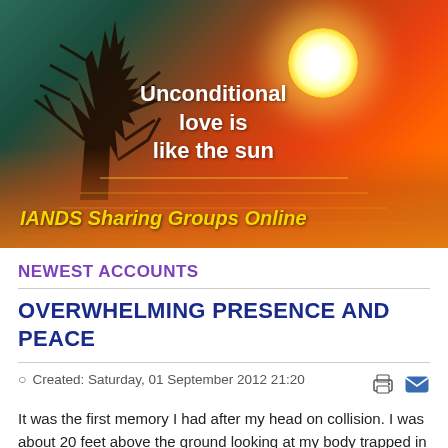[Figure (illustration): Sunset/sunrise image over water with a bare tree silhouette. Large glowing white/yellow sun on upper right. Gradient sky from teal-green on left to deep red-orange on right. Water reflection below. White bold text reads 'Unconditional love is like the sun'. Yellow italic bold text at bottom reads 'IANDS Sharing Groups Online'.]
NEWEST ACCOUNTS
OVERWHELMING PRESENCE AND PEACE
Created: Saturday, 01 September 2012 21:20
It was the first memory I had after my head on collision. I was about 20 feet above the ground looking at my body trapped in my car. It was an